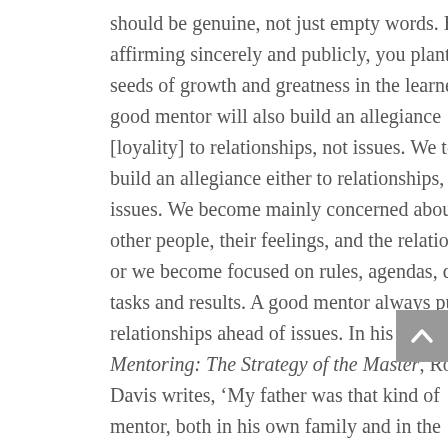should be genuine, not just empty words. By affirming sincerely and publicly, you plant the seeds of growth and greatness in the learner. A good mentor will also build an allegiance [loyality] to relationships, not issues. We tend to build an allegiance either to relationships, or to issues. We become mainly concerned about other people, their feelings, and the relationship, or we become focused on rules, agendas, quotas, tasks and results. A good mentor always puts relationships ahead of issues. In his book Mentoring: The Strategy of the Master, Ron Lee Davis writes, ‘My father was that kind of mentor, both in his own family and in the church he pastored for 25 years. Many times I heard him say, “The individual is always more important than the issue.’” He lived this principle daily and he built it into my life. Today, I try to pass on this principle to others.’ God has called each of us to run our race and finish it successfully. He has also called us to keep the